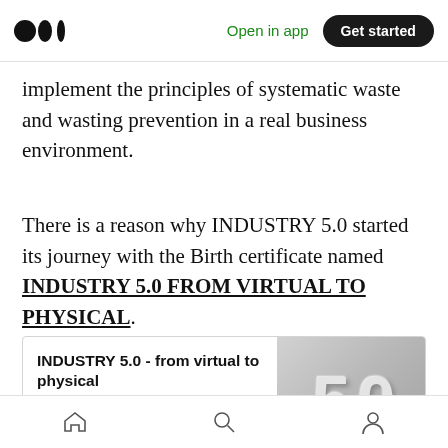Medium app header with logo, Open in app, Get started
implement the principles of systematic waste and wasting prevention in a real business environment.
There is a reason why INDUSTRY 5.0 started its journey with the Birth certificate named INDUSTRY 5.0 FROM VIRTUAL TO PHYSICAL.
[Figure (screenshot): Link preview card for 'INDUSTRY 5.0 - from virtual to physical' on linkedin.com, with a 3D '5.0' image on the right. Card text: 'There is lot of discussions and topics related to INDUSTRY...' and URL 'www.linkedin.com']
Bottom navigation bar with home, search, and profile icons